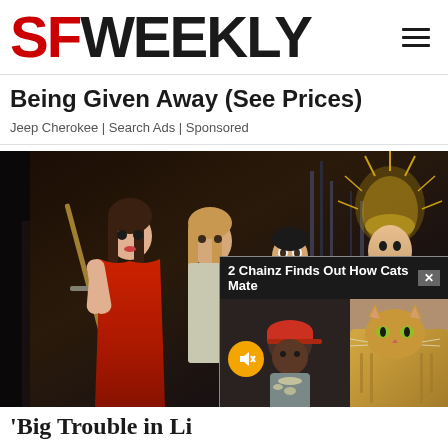SF WEEKLY
Being Given Away (See Prices)
Jeep Cherokee | Search Ads | Sponsored
[Figure (photo): Movie still from Big Trouble in Little China showing a woman in red holding a sword and a man in the background, with a video popup overlay showing '2 Chainz Finds Out How Cats Mate']
'Big Trouble in Li